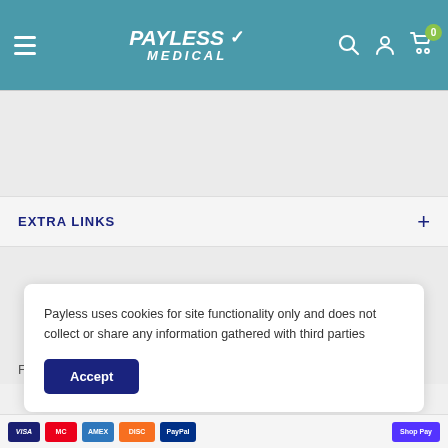[Figure (screenshot): Payless Medical website header with teal background, hamburger menu icon on left, Payless Medical logo in center-left, search icon, user icon, and cart icon with badge showing 0 on right]
EXTRA LINKS
Follow us
Payless uses cookies for site functionality only and does not collect or share any information gathered with third parties
Accept